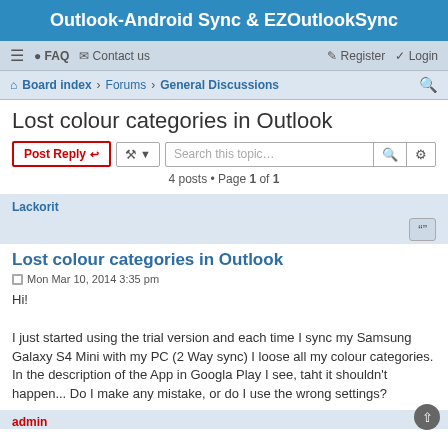Outlook-Android Sync & EZOutlookSync
Board index · Forums · General Discussions
Lost colour categories in Outlook
4 posts • Page 1 of 1
Lackorit
Lost colour categories in Outlook
Mon Mar 10, 2014 3:35 pm
Hi!

I just started using the trial version and each time I sync my Samsung Galaxy S4 Mini with my PC (2 Way sync) I loose all my colour categories. In the description of the App in Googla Play I see, taht it shouldn't happen... Do I make any mistake, or do I use the wrong settings?
admin